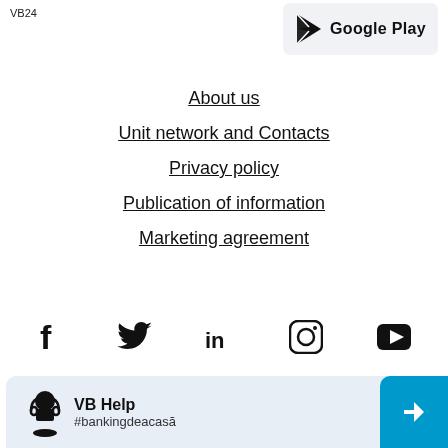VB24
[Figure (logo): Google Play download button badge with arrow logo and text]
About us
Unit network and Contacts
Privacy policy
Publication of information
Marketing agreement
[Figure (other): Social media icons row: Facebook, Twitter, LinkedIn, Instagram, YouTube]
VB Help #bankingdeacasă